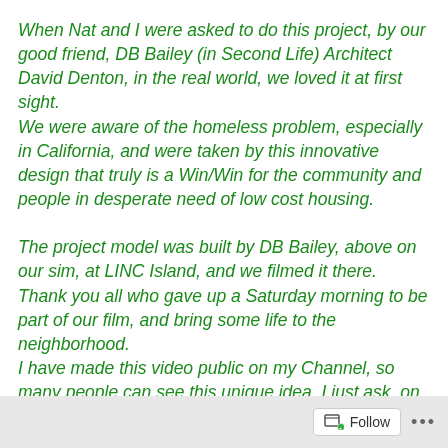When Nat and I were asked to do this project, by our good friend, DB Bailey (in Second Life) Architect David Denton, in the real world, we loved it at first sight. We were aware of the homeless problem, especially in California, and were taken by this innovative design that truly is a Win/Win for the community and people in desperate need of low cost housing.

The project model was built by DB Bailey, above on our sim, at LINC Island, and we filmed it there. Thank you all who gave up a Saturday morning to be part of our film, and bring some life to the neighborhood. I have made this video public on my Channel, so many people can see this unique idea. I just ask, on YouTube, that your comments be respectful and serious, as people
Follow ...